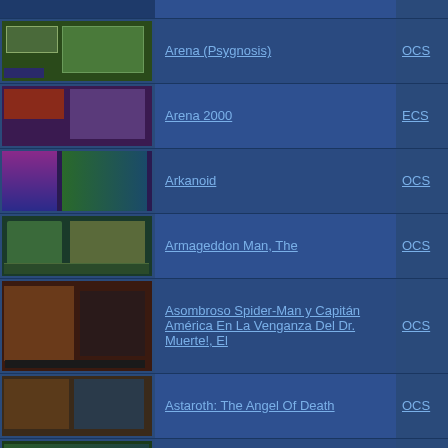| Thumbnail | Game Name | Type |
| --- | --- | --- |
| [image] | Arena (Psygnosis) | OCS |
| [image] | Arena 2000 | ECS |
| [image] | Arkanoid | OCS |
| [image] | Armageddon Man, The | OCS |
| [image] | Asombroso Spider-Man y Capitán América En La Venganza Del Dr. Muerte!, El | OCS |
| [image] | Astaroth: The Angel Of Death | OCS |
| [image] | Astate / Alternate gamename | ECS |
| [image] | Astate: La Malédiction Des Templiers | ECS |
| [image] | Astro Marine Corps (A.M.C.) | ECS |
| [image] | Atomix | ECS |
| [image] | Atron 5000 | OCS |
|  | Austerlitz (P.S.S.) | OCS |
|  | Auto Duel | OCS |
|  | Awesome Arcade Action Pack Volume 1 | OCS |